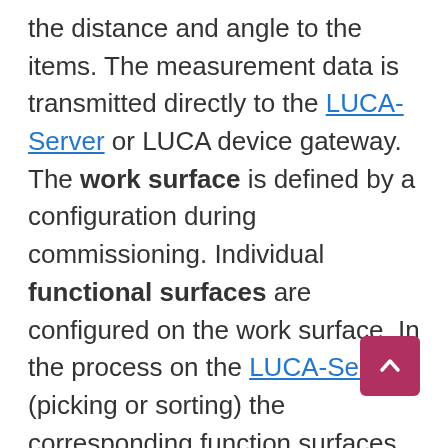the distance and angle to the items. The measurement data is transmitted directly to the LUCA-Server or LUCA device gateway. The work surface is defined by a configuration during commissioning. Individual functional surfaces are configured on the work surface. In the process on the LUCA-Server (picking or sorting) the corresponding function surfaces are activated. If access is made to one of the active function surfaces, the process is notified and a reaction is triggered.